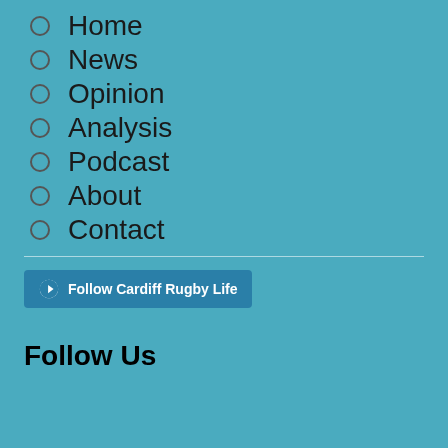Home
News
Opinion
Analysis
Podcast
About
Contact
[Figure (logo): WordPress Follow button with text 'Follow Cardiff Rugby Life']
Follow Us